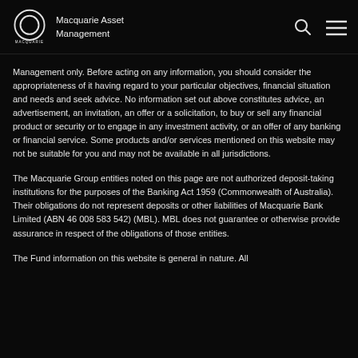Macquarie Asset Management
Management only. Before acting on any information, you should consider the appropriateness of it having regard to your particular objectives, financial situation and needs and seek advice. No information set out above constitutes advice, an advertisement, an invitation, an offer or a solicitation, to buy or sell any financial product or security or to engage in any investment activity, or an offer of any banking or financial service. Some products and/or services mentioned on this website may not be suitable for you and may not be available in all jurisdictions.
The Macquarie Group entities noted on this page are not authorized deposit-taking institutions for the purposes of the Banking Act 1959 (Commonwealth of Australia). Their obligations do not represent deposits or other liabilities of Macquarie Bank Limited (ABN 46 008 583 542) (MBL). MBL does not guarantee or otherwise provide assurance in respect of the obligations of those entities.
The Fund information on this website is general in nature. All